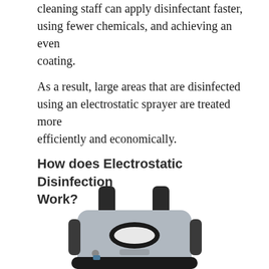cleaning staff can apply disinfectant faster, using fewer chemicals, and achieving an even coating.
As a result, large areas that are disinfected using an electrostatic sprayer are treated more efficiently and economically.
How does Electrostatic Disinfection Work?
[Figure (photo): Photograph of an electrostatic sprayer backpack device, showing the front face with a grey and black body, oval nozzle opening, and straps.]